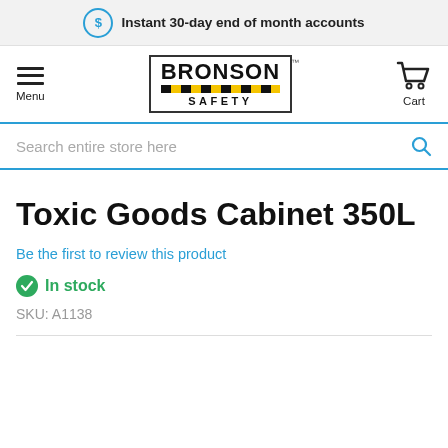Instant 30-day end of month accounts
[Figure (logo): Bronson Safety logo with hamburger menu and cart icon navigation bar]
Search entire store here
Toxic Goods Cabinet 350L
Be the first to review this product
In stock
SKU: A1138